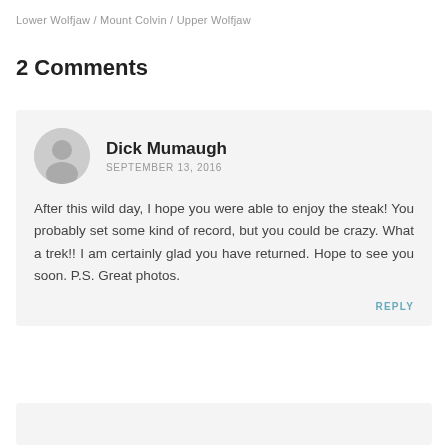Lower Wolfjaw / Mount Colvin / Upper Wolfjaw
2 Comments
Dick Mumaugh
SEPTEMBER 13, 2016
After this wild day, I hope you were able to enjoy the steak! You probably set some kind of record, but you could be crazy. What a trek!! I am certainly glad you have returned. Hope to see you soon. P.S. Great photos.
REPLY